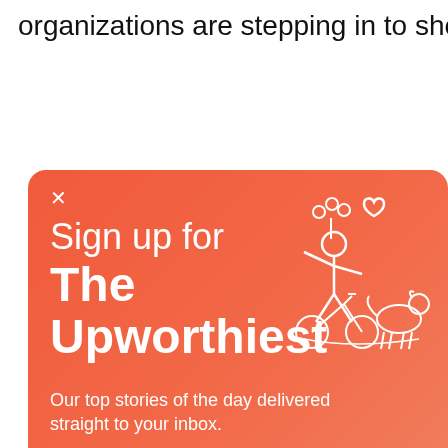organizations are stepping in to show
[Figure (screenshot): Newsletter signup modal popup for 'The Upworthiest' with coral/red-orange gradient background, white illustration of a person on a bicycle with flowers and a dog, close button (X), title text 'Sign up for The Upworthiest', subtitle 'Our top stories of the day delivered straight to your inbox.', and a form with 'SIGN ME UP' input field and 'YES PLEASE' button. There is also a circular close button (X) on the right side.]